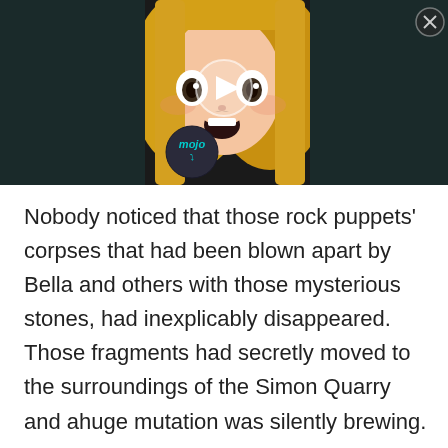[Figure (screenshot): Anime-style illustration of a blonde girl with wide eyes and open mouth showing surprise, on a dark background. A play button is centered on the image. A 'mojo' branded logo circle is on the lower left. A close (X) button is in the upper right corner.]
Nobody noticed that those rock puppets' corpses that had been blown apart by Bella and others with those mysterious stones, had inexplicably disappeared. Those fragments had secretly moved to the surroundings of the Simon Quarry and ahuge mutation was silently brewing.